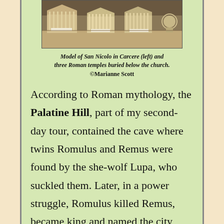[Figure (photo): Photo of a model of San Nicolo in Carcere (left) and three Roman temples buried below the church, displayed on a table.]
Model of San Nicolo in Carcere (left) and three Roman temples buried below the church. ©Marianne Scott
According to Roman mythology, the Palatine Hill, part of my second-day tour, contained the cave where twins Romulus and Remus were found by the she-wolf Lupa, who suckled them. Later, in a power struggle, Romulus killed Remus, became king and named the city after himself.